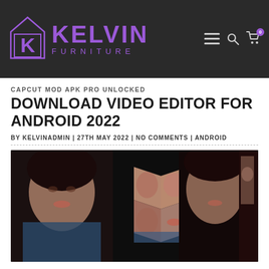Kelvin Furniture — navigation header with logo
CAPCUT MOD APK PRO UNLOCKED
DOWNLOAD VIDEO EDITOR FOR ANDROID 2022
BY KELVINADMIN | 27TH MAY 2022 | NO COMMENTS | ANDROID
[Figure (photo): CapCut video editor app screenshot showing photo collage cube effect with a young woman's photos arranged in 3D cube formation on dark background]